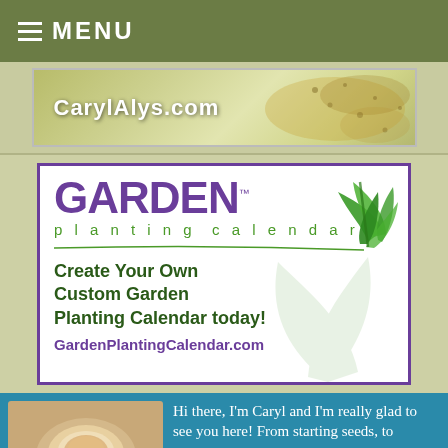≡ MENU
[Figure (screenshot): Website banner showing CarylAlys.com with decorative swirl background]
[Figure (screenshot): Advertisement for Garden Planting Calendar. Large purple text GARDEN with green leaves logo, subtitle 'planting calendar', text 'Create Your Own Custom Garden Planting Calendar today!' and URL GardenPlantingCalendar.com]
Hi there, I'm Caryl and I'm really glad to see you here! From starting seeds, to